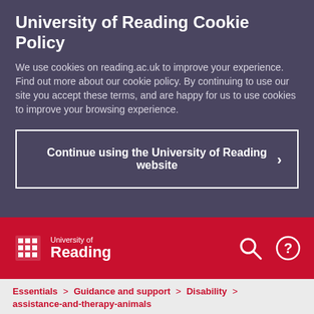University of Reading Cookie Policy
We use cookies on reading.ac.uk to improve your experience. Find out more about our cookie policy. By continuing to use our site you accept these terms, and are happy for us to use cookies to improve your browsing experience.
Continue using the University of Reading website
[Figure (logo): University of Reading logo with shield emblem on red bar, with search and help icons]
Essentials > Guidance and support > Disability > assistance-and-therapy-animals